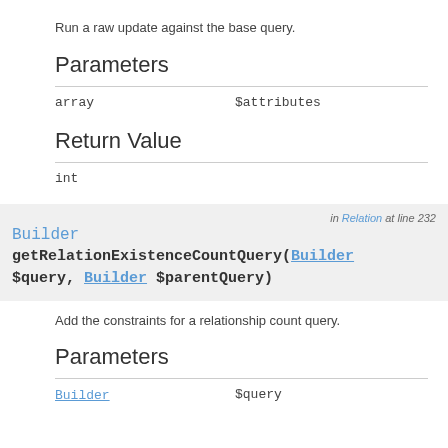Run a raw update against the base query.
Parameters
| type | name |
| --- | --- |
| array | $attributes |
Return Value
| type |
| --- |
| int |
Builder getRelationExistenceCountQuery(Builder $query, Builder $parentQuery)
in Relation at line 232
Add the constraints for a relationship count query.
Parameters
| type | name |
| --- | --- |
| Builder | $query |